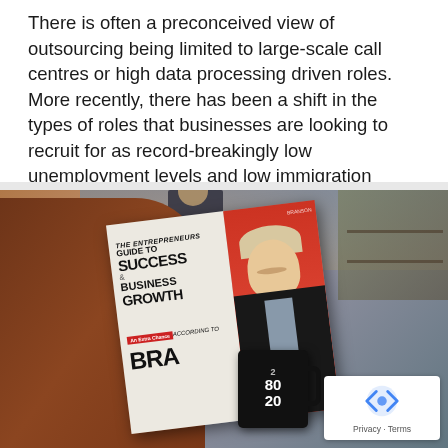There is often a preconceived view of outsourcing being limited to large-scale call centres or high data processing driven roles. More recently, there has been a shift in the types of roles that businesses are looking to recruit for as record-breakingly low unemployment levels and low immigration make it increasingly difficult to find the right [...]
[Figure (photo): Person seated in a cafe, viewed from behind, reading a magazine titled 'The Entrepreneurs Guide to Success & Business Growth According to BRA...' (Richard Branson feature), holding a black mug with '80/20' on it. Another person visible in the background. A reCAPTCHA Privacy/Terms badge appears in the bottom-right corner.]